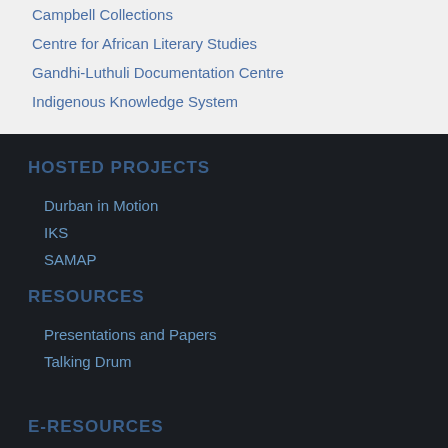Campbell Collections
Centre for African Literary Studies
Gandhi-Luthuli Documentation Centre
Indigenous Knowledge System
HOSTED PROJECTS
Durban in Motion
IKS
SAMAP
RESOURCES
Presentations and Papers
Talking Drum
E-RESOURCES
AJOL
African Journal Archive